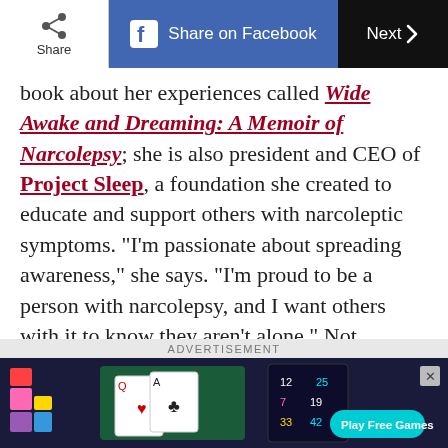Share | Share on Facebook | Next >
book about her experiences called Wide Awake and Dreaming: A Memoir of Narcolepsy; she is also president and CEO of Project Sleep, a foundation she created to educate and support others with narcoleptic symptoms. "I'm passionate about spreading awareness," she says. "I'm proud to be a person with narcolepsy, and I want others with it to know they aren't alone." Not diagnosed with narcolepsy but are having trouble sleeping? These yoga techniques are
ADVERTISEMENT
[Figure (screenshot): Advertisement banner showing card games and puzzle games with a 'Play Free Games' button on a dark blue background.]